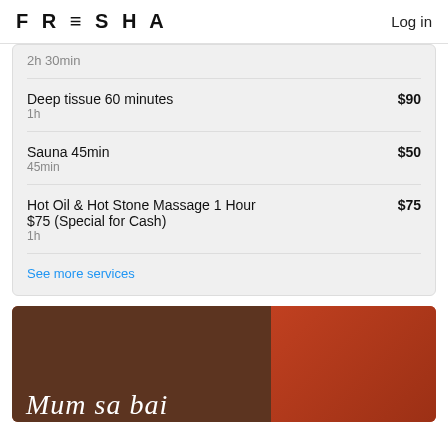FRESHA   Log in
2h 30min
Deep tissue 60 minutes   $90
1h
Sauna 45min   $50
45min
Hot Oil & Hot Stone Massage 1 Hour $75 (Special for Cash)   $75
1h
See more services
[Figure (photo): Photo of Mum Sa Bai Traditional Thai Massage and Therapy sign on a wooden background with orange/red background on the right]